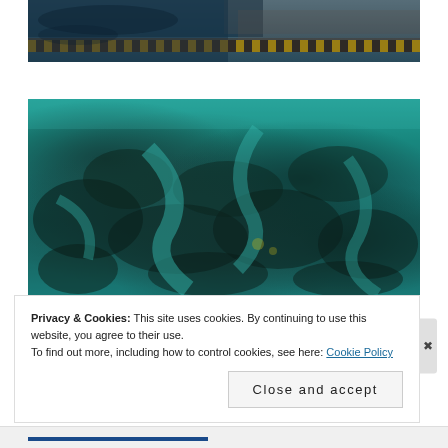[Figure (photo): Aerial view of a harbor/dock area with yellow and black striped barrier, dark water, and people visible on a pier or walkway.]
[Figure (photo): Aerial view of a coral reef underwater with teal and turquoise water channels winding through dark reef formations, photographed from above.]
Privacy & Cookies: This site uses cookies. By continuing to use this website, you agree to their use.
To find out more, including how to control cookies, see here: Cookie Policy
Close and accept